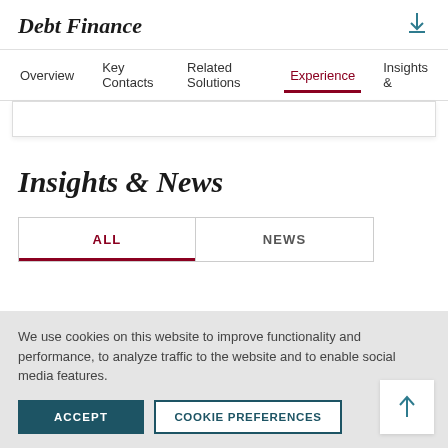Debt Finance
Overview  Key Contacts  Related Solutions  Experience  Insights &
Insights & News
ALL
NEWS
We use cookies on this website to improve functionality and performance, to analyze traffic to the website and to enable social media features.
ACCEPT
COOKIE PREFERENCES